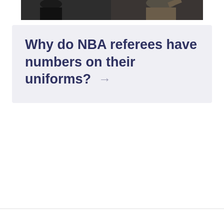[Figure (photo): Cropped photo of NBA referees or officials at a basketball game, showing partial figures in suits/uniforms]
Why do NBA referees have numbers on their uniforms? →